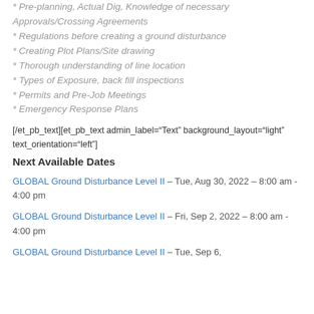* Pre-planning, Actual Dig, Knowledge of necessary Approvals/Crossing Agreements
* Regulations before creating a ground disturbance
* Creating Plot Plans/Site drawing
* Thorough understanding of line location
* Types of Exposure, back fill inspections
* Permits and Pre-Job Meetings
* Emergency Response Plans
[/et_pb_text][et_pb_text admin_label="Text" background_layout="light" text_orientation="left"]
Next Available Dates
GLOBAL Ground Disturbance Level II – Tue, Aug 30, 2022 – 8:00 am - 4:00 pm
GLOBAL Ground Disturbance Level II – Fri, Sep 2, 2022 – 8:00 am - 4:00 pm
GLOBAL Ground Disturbance Level II – Tue, Sep 6,